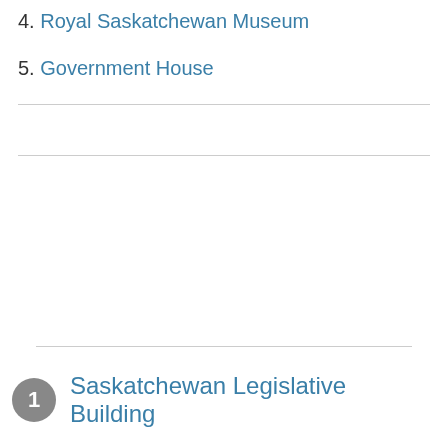4. Royal Saskatchewan Museum
5. Government House
1 Saskatchewan Legislative Building